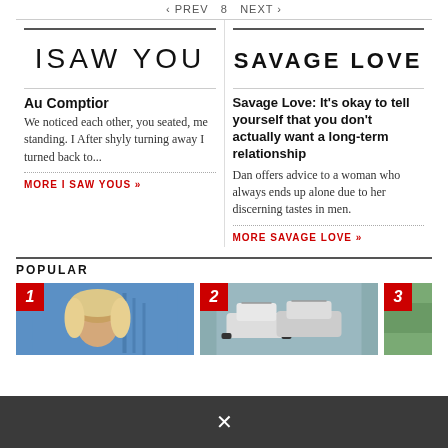« PREV  8  NEXT »
[Figure (logo): I SAW YOU column logo in stylized sans-serif font]
Au Comptior
We noticed each other, you seated, me standing. I After shyly turning away I turned back to...
MORE I SAW YOUS »
[Figure (logo): SAVAGE LOVE column logo in bold uppercase sans-serif]
Savage Love: It's okay to tell yourself that you don't actually want a long-term relationship
Dan offers advice to a woman who always ends up alone due to her discerning tastes in men.
MORE SAVAGE LOVE »
POPULAR
[Figure (photo): Popular item 1: Photo of a blonde woman against a blue background]
[Figure (photo): Popular item 2: Photo of police cars]
[Figure (photo): Popular item 3: Partially visible photo]